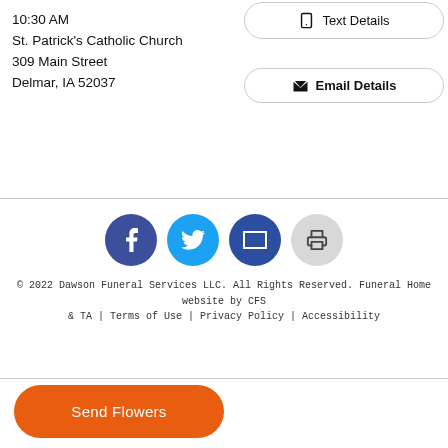10:30 AM
St. Patrick's Catholic Church
309 Main Street
Delmar, IA 52037
[Figure (other): Text Details button (pill-shaped outline button with phone/text icon)]
[Figure (other): Email Details button (pill-shaped outline button with envelope/X icon)]
[Figure (other): Social share icons row: Facebook (dark blue circle), Twitter (light blue circle), Email (dark blue circle), Print (gray circle)]
© 2022 Dawson Funeral Services LLC. All Rights Reserved. Funeral Home website by CFS & TA | Terms of Use | Privacy Policy | Accessibility
[Figure (other): Send Flowers orange pill button]